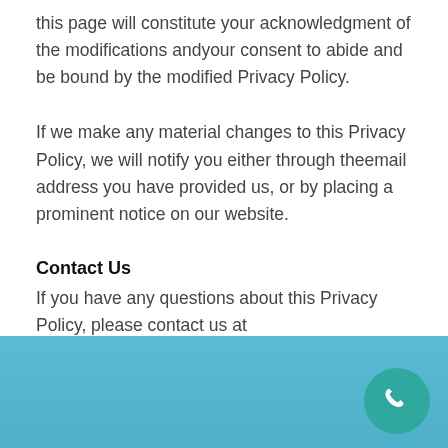this page will constitute your acknowledgment of the modifications andyour consent to abide and be bound by the modified Privacy Policy.
If we make any material changes to this Privacy Policy, we will notify you either through theemail address you have provided us, or by placing a prominent notice on our website.
Contact Us
If you have any questions about this Privacy Policy, please contact us at Info@JTravelUp.com.
[Figure (illustration): Teal/blue footer bar with a dark teal circular phone icon button in the bottom right corner.]